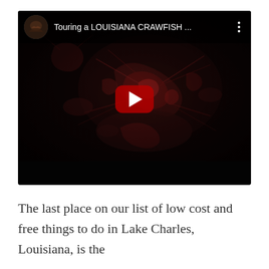[Figure (screenshot): YouTube video thumbnail embed showing a dark image of Louisiana crawfish with a red play button in the center. Top bar shows a circular channel avatar and the title 'Touring a LOUISIANA CRAWFISH ...' with a three-dot menu icon. Bottom bar is black.]
The last place on our list of low cost and free things to do in Lake Charles, Louisiana, is the